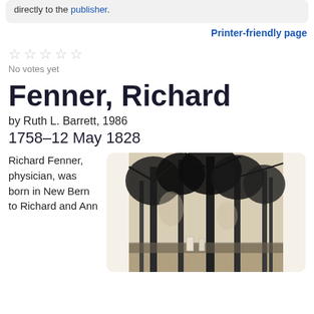directly to the publisher.
Printer-friendly page
No votes yet
Fenner, Richard
by Ruth L. Barrett, 1986
1758–12 May 1828
Richard Fenner, physician, was born in New Bern to Richard and Ann
[Figure (photo): Black and white photograph of a wooded/cemetery scene with trees and what appears to be grave markers in the foreground]